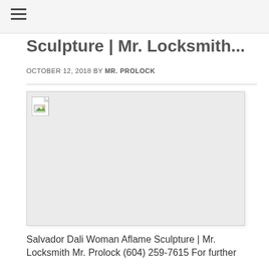≡
Sculpture | Mr. Locksmith...
OCTOBER 12, 2018 BY MR. PROLOCK
[Figure (photo): Broken/missing image placeholder for Salvador Dali Woman Aflame Sculpture]
Salvador Dali Woman Aflame Sculpture | Mr. Locksmith Mr. Prolock (604) 259-7615 For further